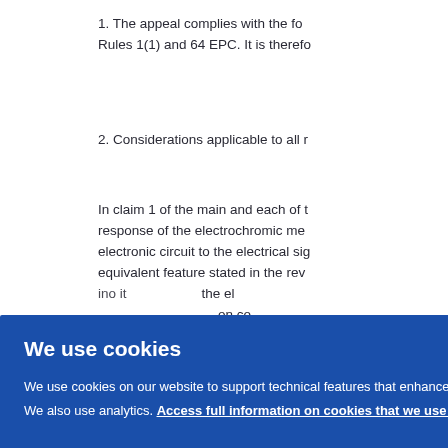1. The appeal complies with the fo... Rules 1(1) and 64 EPC. It is therefo...
2. Considerations applicable to all r...
In claim 1 of the main and each of t... response of the electrochromic me... electronic circuit to the electrical sig... equivalent feature stated in the rev... ...the el... ...on co... ...umn ...dea b... ...hromi... ...here b... ...indic... ...t out ...g as
[Figure (other): Cookie consent overlay with blue background. Title: 'We use cookies'. Body text: 'We use cookies on our website to support technical features that enhance your user experience. We also use analytics. Access full information on cookies that we use and how to manage them'. OK button on the right.]